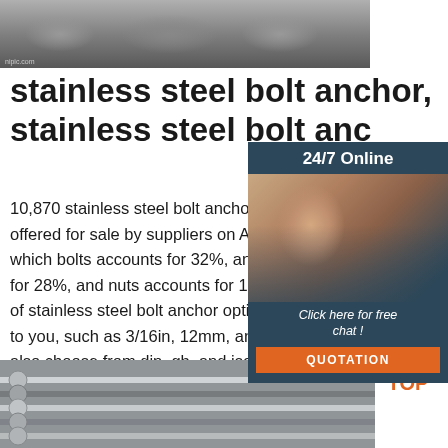[Figure (photo): Coiled steel wire/rods stacked together, top image with watermark 'nipic.com']
stainless steel bolt anchor, stainless steel bolt anc
10,870 stainless steel bolt anchor products are offered for sale by suppliers on Alibaba.com, of which bolts accounts for 32%, anchors a for 28%, and nuts accounts for 1%. A wide variety of stainless steel bolt anchor options are available to you, such as 3/16in, 12mm, and 1/4in. You can also choose from din, gb, and iso stainle
[Figure (photo): Chat widget with '24/7 Online' header, woman with headset, 'Click here for free chat!' and QUOTATION button]
[Figure (illustration): TOP logo with orange dots forming triangle shape]
[Figure (photo): Stainless steel rods/bars arranged in parallel, bottom image]
Get Price